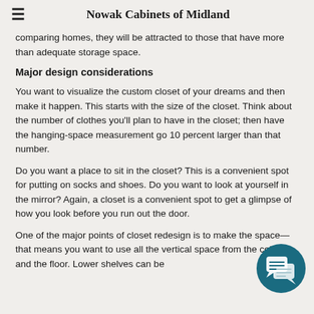Nowak Cabinets of Midland
comparing homes, they will be attracted to those that have more than adequate storage space.
Major design considerations
You want to visualize the custom closet of your dreams and then make it happen. This starts with the size of the closet. Think about the number of clothes you'll plan to have in the closet; then have the hanging-space measurement go 10 percent larger than that number.
Do you want a place to sit in the closet? This is a convenient spot for putting on socks and shoes. Do you want to look at yourself in the mirror? Again, a closet is a convenient spot to get a glimpse of how you look before you run out the door.
One of the major points of closet redesign is to ma... the space—that means you want to use all the vertical space from the ceiling and the floor. Lower shelves can be